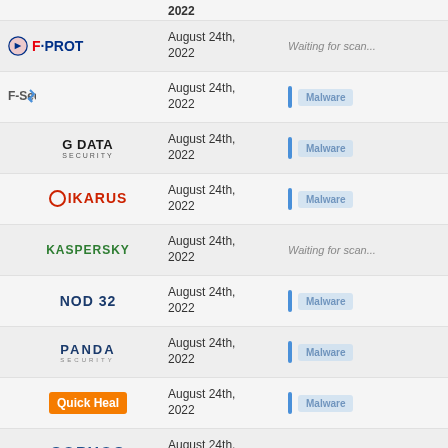| Antivirus | Date | Result |
| --- | --- | --- |
| F-PROT | August 24th, 2022 | Waiting for scan... |
| F-Secure | August 24th, 2022 | Malware |
| G DATA | August 24th, 2022 | Malware |
| IKARUS | August 24th, 2022 | Malware |
| Kaspersky | August 24th, 2022 | Waiting for scan... |
| NOD 32 | August 24th, 2022 | Malware |
| PANDA | August 24th, 2022 | Malware |
| Quick Heal | August 24th, 2022 | Malware |
| SOPHOS | August 24th, 2022 | Waiting for scan... |
| VBA32 | August 24th, 2022 | Malware |